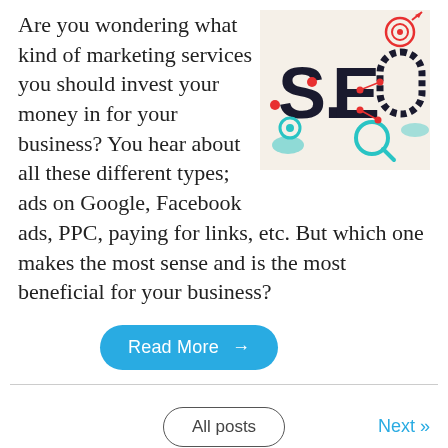Are you wondering what kind of marketing services you should invest your money in for your business? You hear about all these different types; ads on Google, Facebook ads, PPC, paying for links, etc. But which one makes the most sense and is the most beneficial for your business?
[Figure (illustration): SEO graphic illustration with stylized text 'SEO' featuring icons including a target/bullseye, a rocket, a gear/cog, and a magnifying glass on a beige/tan background]
Read More →
All posts
Next »
Subscribe for Weekly FREE Business